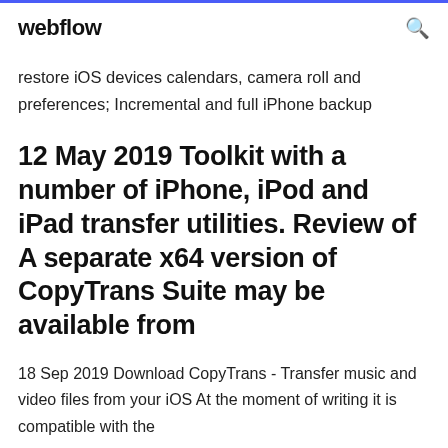webflow
restore iOS devices calendars, camera roll and preferences; Incremental and full iPhone backup
12 May 2019 Toolkit with a number of iPhone, iPod and iPad transfer utilities. Review of A separate x64 version of CopyTrans Suite may be available from
18 Sep 2019 Download CopyTrans - Transfer music and video files from your iOS At the moment of writing it is compatible with the